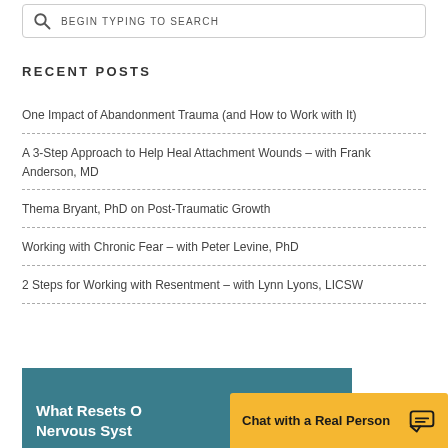BEGIN TYPING TO SEARCH
RECENT POSTS
One Impact of Abandonment Trauma (and How to Work with It)
A 3-Step Approach to Help Heal Attachment Wounds – with Frank Anderson, MD
Thema Bryant, PhD on Post-Traumatic Growth
Working with Chronic Fear – with Peter Levine, PhD
2 Steps for Working with Resentment – with Lynn Lyons, LICSW
[Figure (screenshot): Teal promotional banner with white text reading 'What Resets O... Nervous Syst...' partially visible]
Chat with a Real Person